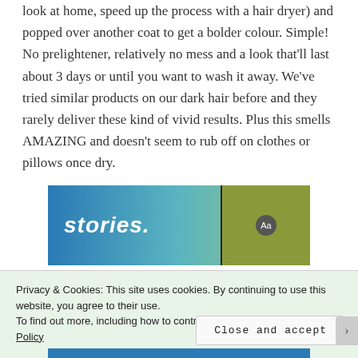look at home, speed up the process with a hair dryer) and popped over another coat to get a bolder colour. Simple! No prelightener, relatively no mess and a look that'll last about 3 days or until you want to wash it away. We've tried similar products on our dark hair before and they rarely deliver these kind of vivid results. Plus this smells AMAZING and doesn't seem to rub off on clothes or pillows once dry.
[Figure (screenshot): Advertisement banner with 'stories.' text in white italic on a blue-to-green gradient background, with a figure in a yellow jacket on the right side]
Privacy & Cookies: This site uses cookies. By continuing to use this website, you agree to their use.
To find out more, including how to control cookies, see here: Cookie Policy
Close and accept